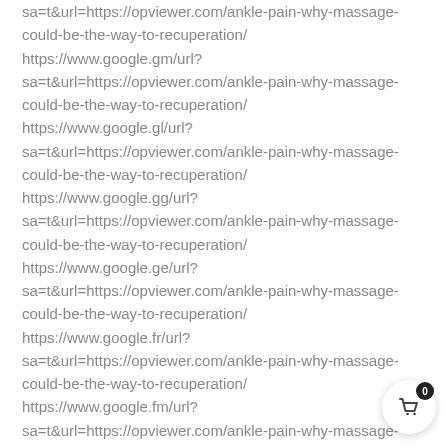sa=t&url=https://opviewer.com/ankle-pain-why-massage-could-be-the-way-to-recuperation/ https://www.google.gm/url? sa=t&url=https://opviewer.com/ankle-pain-why-massage-could-be-the-way-to-recuperation/ https://www.google.gl/url? sa=t&url=https://opviewer.com/ankle-pain-why-massage-could-be-the-way-to-recuperation/ https://www.google.gg/url? sa=t&url=https://opviewer.com/ankle-pain-why-massage-could-be-the-way-to-recuperation/ https://www.google.ge/url? sa=t&url=https://opviewer.com/ankle-pain-why-massage-could-be-the-way-to-recuperation/ https://www.google.fr/url? sa=t&url=https://opviewer.com/ankle-pain-why-massage-could-be-the-way-to-recuperation/ https://www.google.fm/url? sa=t&url=https://opviewer.com/ankle-pain-why-massage-could-be-the-way-to-recuperation/ https://www.google.fi/url? sa=t&url=https://opviewer.com/ankle-pain-why-massage